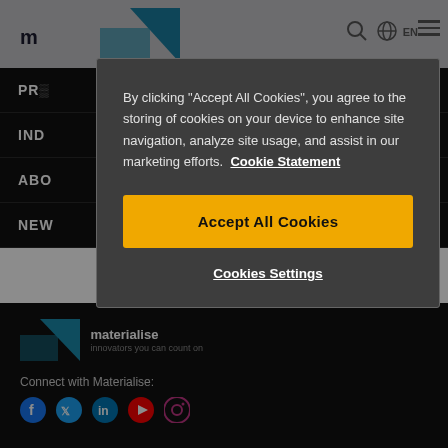[Figure (screenshot): Website background showing Materialise navigation with dark theme, logo, and footer area with social icons]
By clicking “Accept All Cookies”, you agree to the storing of cookies on your device to enhance site navigation, analyze site usage, and assist in our marketing efforts. Cookie Statement
Accept All Cookies
Cookies Settings